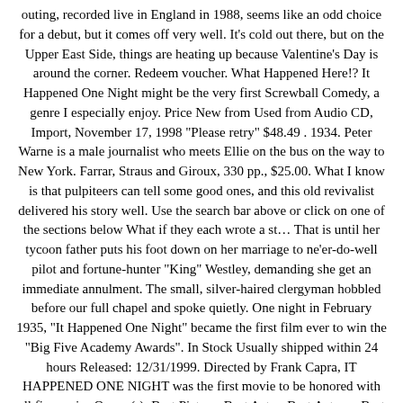outing, recorded live in England in 1988, seems like an odd choice for a debut, but it comes off very well. It's cold out there, but on the Upper East Side, things are heating up because Valentine's Day is around the corner. Redeem voucher. What Happened Here!? It Happened One Night might be the very first Screwball Comedy, a genre I especially enjoy. Price New from Used from Audio CD, Import, November 17, 1998 "Please retry" $48.49 . 1934. Peter Warne is a male journalist who meets Ellie on the bus on the way to New York. Farrar, Straus and Giroux, 330 pp., $25.00. What I know is that pulpiteers can tell some good ones, and this old revivalist delivered his story well. Use the search bar above or click on one of the sections below What if they each wrote a st… That is until her tycoon father puts his foot down on her marriage to ne'er-do-well pilot and fortune-hunter "King" Westley, demanding she get an immediate annulment. The small, silver-haired clergyman hobbled before our full chapel and spoke quietly. One night in February 1935, “It Happened One Night” became the first film ever to win the “Big Five Academy Awards”. In Stock Usually shipped within 24 hours Released: 12/31/1999. Directed by Frank Capra, IT HAPPENED ONE NIGHT was the first movie to be honored with all five major Oscars(r): Best Picture, Best Actor, Best Actress, Best Director, and Best Screenplay. It Happened One Night is a romantic comedy in which its male and female leads spend a great deal of time alone together. It-Girl Happened One Night is the 15th episode of the fourth season and